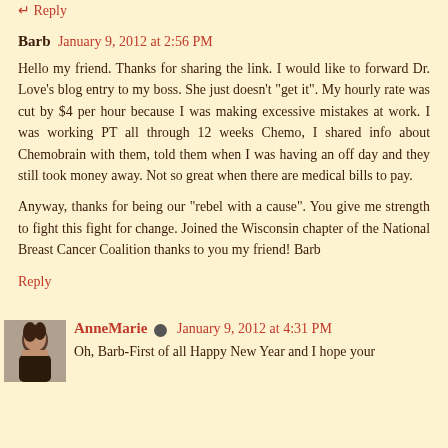Reply
Barb  January 9, 2012 at 2:56 PM
Hello my friend. Thanks for sharing the link. I would like to forward Dr. Love's blog entry to my boss. She just doesn't "get it". My hourly rate was cut by $4 per hour because I was making excessive mistakes at work. I was working PT all through 12 weeks Chemo, I shared info about Chemobrain with them, told them when I was having an off day and they still took money away. Not so great when there are medical bills to pay.
Anyway, thanks for being our "rebel with a cause". You give me strength to fight this fight for change. Joined the Wisconsin chapter of the National Breast Cancer Coalition thanks to you my friend! Barb
Reply
AnneMarie  January 9, 2012 at 4:31 PM
Oh, Barb-First of all Happy New Year and I hope your